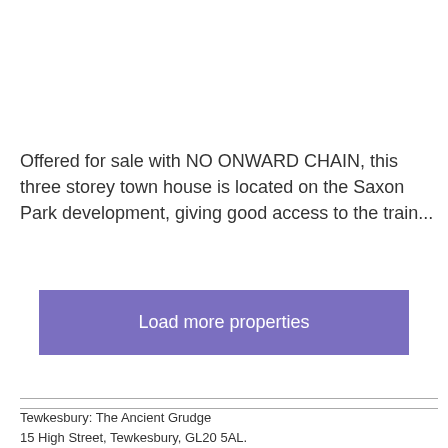Offered for sale with NO ONWARD CHAIN, this three storey town house is located on the Saxon Park development, giving good access to the train...
Load more properties
Tewkesbury: The Ancient Grudge
15 High Street, Tewkesbury, GL20 5AL.